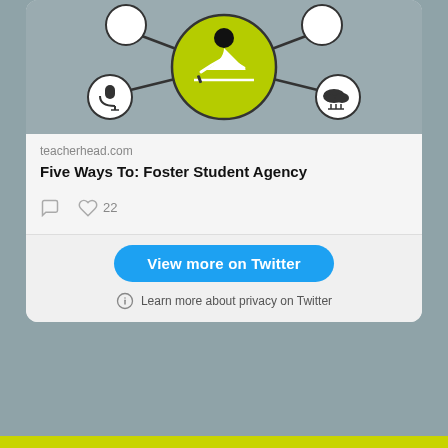[Figure (illustration): Infographic showing a student writing in the center circle (yellow-green) connected to surrounding circles with icons: microphone, cloud/network, and other learning tools]
teacherhead.com
Five Ways To: Foster Student Agency
[Figure (infographic): Social media action icons: comment bubble and heart with count 22]
View more on Twitter
Learn more about privacy on Twitter